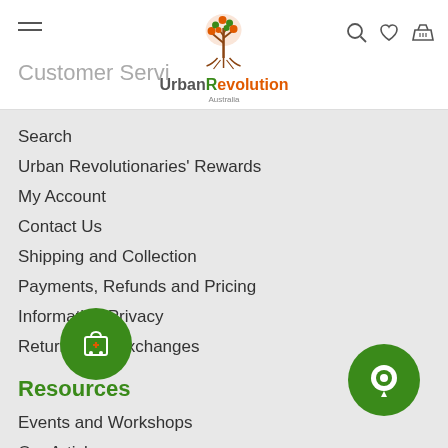[Figure (logo): Urban Revolution Australia logo with tree graphic, hamburger menu icon, search icon, heart icon, and basket icon in website header]
Customer Servi...
Search
Urban Revolutionaries' Rewards
My Account
Contact Us
Shipping and Collection
Payments, Refunds and Pricing
Information Privacy
Returns and Exchanges
Resources
Events and Workshops
Our Articles
R...
Sustainable Living
Garden and Soil